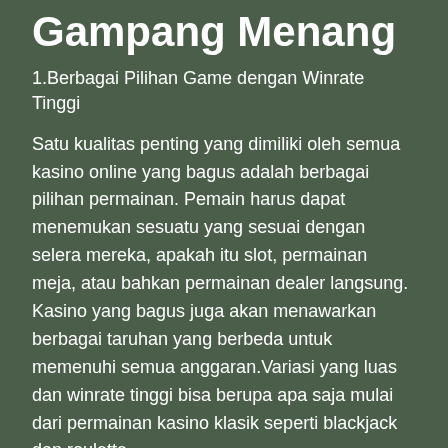Gampang Menang
1.Berbagai Pilihan Game dengan Winrate Tinggi
Satu kualitas penting yang dimiliki oleh semua kasino online yang bagus adalah berbagai pilihan permainan. Pemain harus dapat menemukan sesuatu yang sesuai dengan selera mereka, apakah itu slot, permainan meja, atau bahkan permainan dealer langsung. Kasino yang bagus juga akan menawarkan berbagai taruhan yang berbeda untuk memenuhi semua anggaran.Variasi yang luas dan winrate tinggi bisa berupa apa saja mulai dari permainan kasino klasik seperti blackjack dan roulette.
Hingga slot yang lebih modern dan permainan dealer langsung. Pemain harus dapat menemukan sesuatu yang sesuai dengan selera mereka. Kasino yang berbeda juga akan menawarkan berbagai taruhan yang berbeda untuk memenuhi semua anggaran i